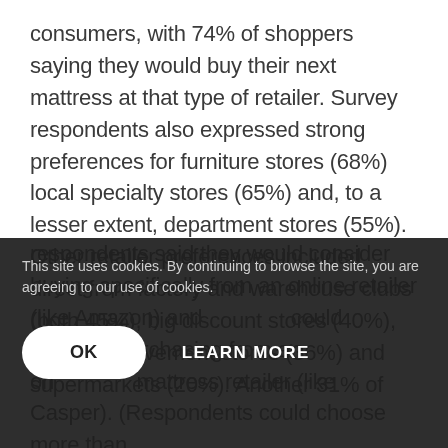consumers, with 74% of shoppers saying they would buy their next mattress at that type of retailer. Survey respondents also expressed strong preferences for furniture stores (68%) local specialty stores (65%) and, to a lesser extent, department stores (55%). Other retailer preferences included direct from factory and warehouse clubs (both 45%), big discount stores (40%), home improvement stores (36%) and supermarkets (20%). Another 31% of respondents said they would consider buying specifically from an online retailer (like Amazon) and would consider purchasing from an online mattress retailer (like Casper). (Respondents could choose more than
This site uses cookies. By continuing to browse the site, you are agreeing to our use of cookies.
OK    LEARN MORE